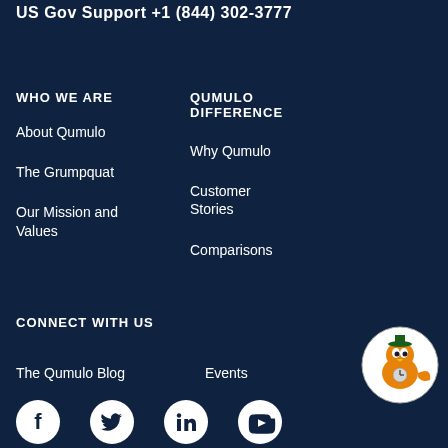US Gov Support +1 (844) 302-3777
WHO WE ARE
About Qumulo
The Grumpquat
Our Mission and Values
QUMULO DIFFERENCE
Why Qumulo
Customer Stories
Comparisons
CONNECT WITH US
The Qumulo Blog
Events
[Figure (logo): Social media icons: Facebook, Twitter, LinkedIn, YouTube]
[Figure (illustration): Qumulo mascot - cartoon orange bird character in a circle]